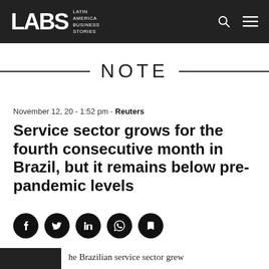LABS Latin America Business Stories
NOTE
November 12, 20 - 1:52 pm - Reuters
Service sector grows for the fourth consecutive month in Brazil, but it remains below pre-pandemic levels
[Figure (other): Social share icons: Facebook, Twitter, LinkedIn, WhatsApp, Bookmark]
he Brazilian service sector grew